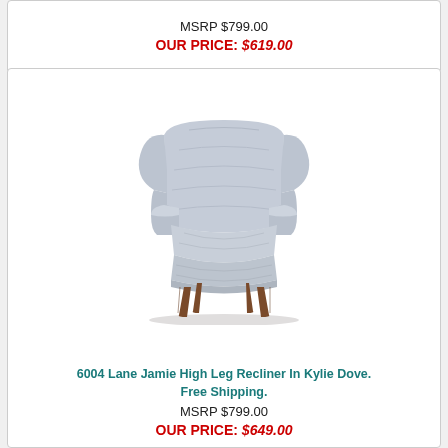MSRP $799.00
OUR PRICE: $619.00
[Figure (photo): Lane Jamie High Leg Recliner chair in Kylie Dove fabric, light gray/blue speckled upholstery with dark walnut wooden legs, shown in reclined position]
6004 Lane Jamie High Leg Recliner In Kylie Dove. Free Shipping.
MSRP $799.00
OUR PRICE: $649.00